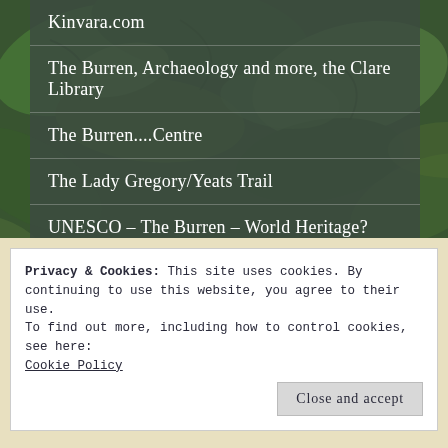[Figure (photo): Green leafy foliage background photo]
Kinvara.com
The Burren, Archaeology and more, the Clare Library
The Burren....Centre
The Lady Gregory/Yeats Trail
UNESCO – The Burren – World Heritage?
Privacy & Cookies: This site uses cookies. By continuing to use this website, you agree to their use.
To find out more, including how to control cookies, see here: Cookie Policy
Close and accept